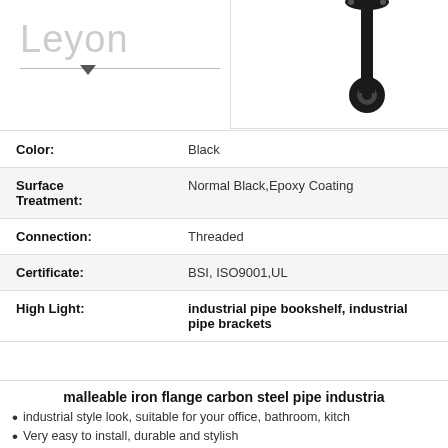[Figure (screenshot): Website header with Leyon logo and navigation (Home, Products, About)]
[Figure (photo): Product image of a black industrial pipe bracket/flange fitting]
| Property | Value |
| --- | --- |
| Color: | Black |
| Surface Treatment: | Normal Black,Epoxy Coating |
| Connection: | Threaded |
| Certificate: | BSI, ISO9001,UL |
| High Light: | industrial pipe bookshelf, industrial pipe brackets |
malleable iron flange carbon steel pipe industria
industrial style look, suitable for your office, bathroom, kitch
Very easy to install, durable and stylish